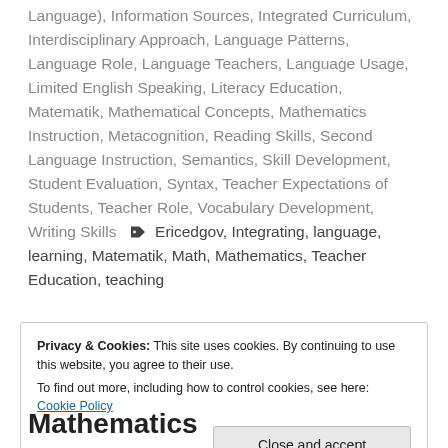Language), Information Sources, Integrated Curriculum, Interdisciplinary Approach, Language Patterns, Language Role, Language Teachers, Language Usage, Limited English Speaking, Literacy Education, Matematik, Mathematical Concepts, Mathematics Instruction, Metacognition, Reading Skills, Second Language Instruction, Semantics, Skill Development, Student Evaluation, Syntax, Teacher Expectations of Students, Teacher Role, Vocabulary Development, Writing Skills  [tag icon] Ericedgov, Integrating, language, learning, Matematik, Math, Mathematics, Teacher Education, teaching
Privacy & Cookies: This site uses cookies. By continuing to use this website, you agree to their use. To find out more, including how to control cookies, see here: Cookie Policy
Mathematics